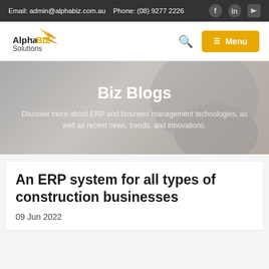Email: admin@alphabiz.com.au   Phone: (08) 9277 2226
[Figure (logo): AlphaBiz Solutions logo with stylized gold wing/arrow icon]
Biz Blogs
Discover more about ERP and business management technologies, as well as recent news, trends, and innovations.
An ERP system for all types of construction businesses
09 Jun 2022